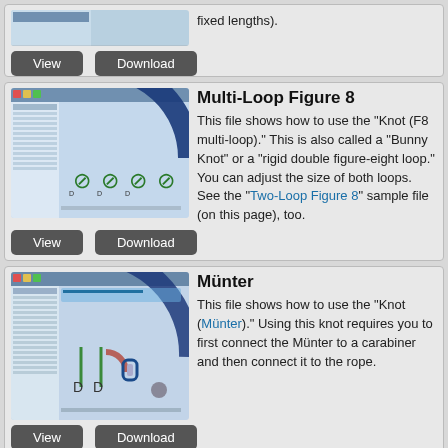[Figure (screenshot): Partial screenshot of a rope knot software application showing figure-8 knot diagrams]
fixed lengths).
[Figure (other): View and Download buttons]
Multi-Loop Figure 8
This file shows how to use the "Knot (F8 multi-loop)." This is also called a "Bunny Knot" or a "rigid double figure-eight loop." You can adjust the size of both loops. See the "Two-Loop Figure 8" sample file (on this page), too.
[Figure (screenshot): Screenshot of rope knot software showing multi-loop figure 8 knot diagrams with blue arc]
[Figure (other): View and Download buttons]
Münter
This file shows how to use the "Knot (Münter)." Using this knot requires you to first connect the Münter to a carabiner and then connect it to the rope.
[Figure (screenshot): Screenshot of rope knot software showing Münter knot diagrams]
[Figure (other): View and Download buttons]